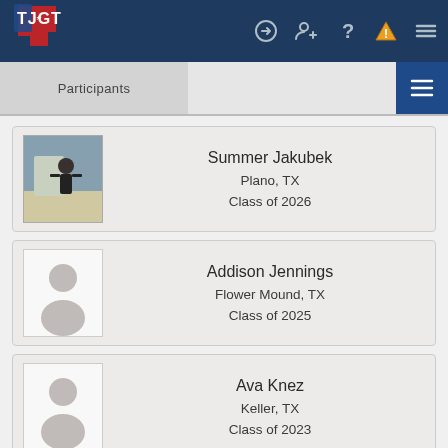TJGT - Participants
Participants
Summer Jakubek
Plano, TX
Class of 2026
Addison Jennings
Flower Mound, TX
Class of 2025
Ava Knez
Keller, TX
Class of 2023